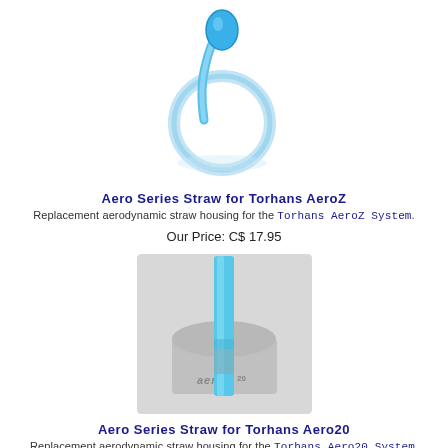[Figure (photo): Blue aerodynamic straw housing in a circular/looping shape with a rounded bulb at the top, for Torhans AeroZ system]
Aero Series Straw for Torhans AeroZ
Replacement aerodynamic straw housing for the Torhans AeroZ System.
Our Price: C$ 17.95
[Figure (photo): Blue vertical straw mounted on a grey Aero 20 base unit, shown against a light grey background]
Aero Series Straw for Torhans Aero20
Replacement aerodynamic straw housing for the Torhans Aero20 System.